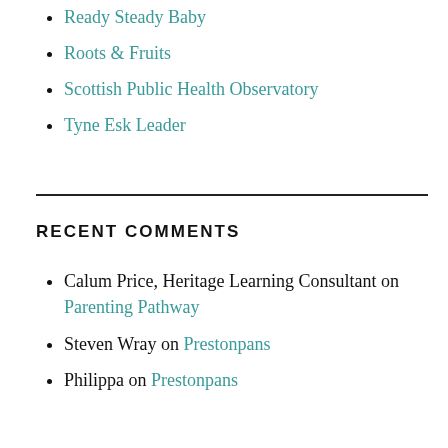Ready Steady Baby
Roots & Fruits
Scottish Public Health Observatory
Tyne Esk Leader
RECENT COMMENTS
Calum Price, Heritage Learning Consultant on Parenting Pathway
Steven Wray on Prestonpans
Philippa on Prestonpans
RECENT POSTS